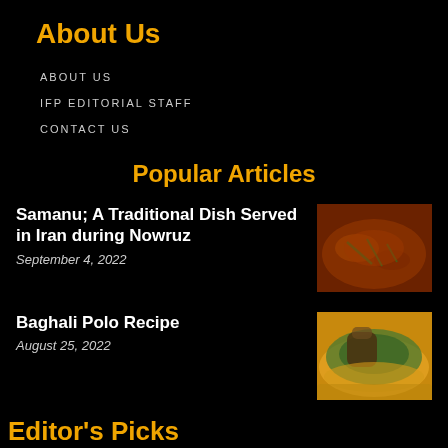About Us
ABOUT US
IFP EDITORIAL STAFF
CONTACT US
Popular Articles
Samanu; A Traditional Dish Served in Iran during Nowruz
September 4, 2022
[Figure (photo): Photo of Samanu, a brown stew-like dish with green garnish in a pot]
Baghali Polo Recipe
August 25, 2022
[Figure (photo): Photo of Baghali Polo, a Persian rice dish with yellow saffron rice, herbs and lamb]
Editor's Picks